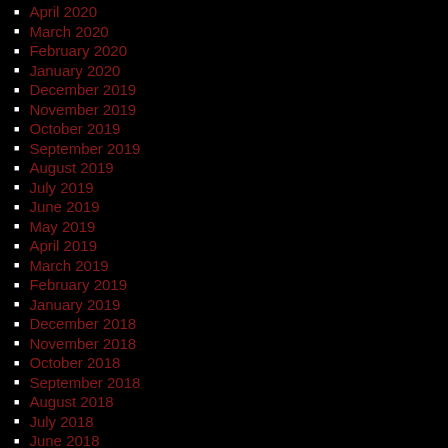April 2020
March 2020
February 2020
January 2020
December 2019
November 2019
October 2019
September 2019
August 2019
July 2019
June 2019
May 2019
April 2019
March 2019
February 2019
January 2019
December 2018
November 2018
October 2018
September 2018
August 2018
July 2018
June 2018
May 2018